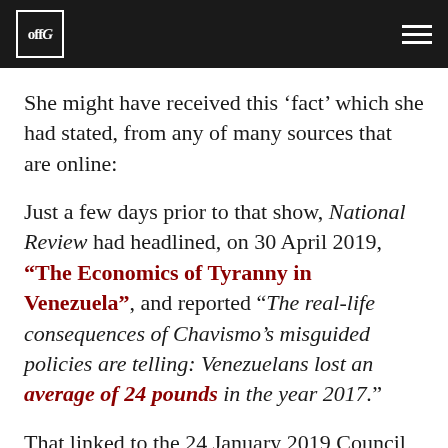offG
She might have received this ‘fact’ which she had stated, from any of many sources that are online:
Just a few days prior to that show, National Review had headlined, on 30 April 2019, “The Economics of Tyranny in Venezuela”, and reported “The real-life consequences of Chavismo’s misguided policies are telling: Venezuelans lost an average of 24 pounds in the year 2017.”
That linked to the 24 January 2019 Council on